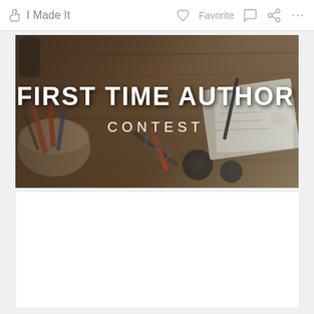I Made It   ♡ Favorite   💬   ⎇   ...
[Figure (photo): Banner image for 'First Time Author Contest' showing craft tools, scissors, tape measure, notebooks on a wooden desk background. White bold text reads 'FIRST TIME AUTHOR' and below it 'CONTEST'.]